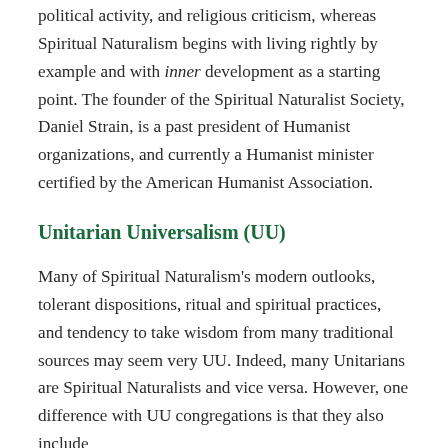political activity, and religious criticism, whereas Spiritual Naturalism begins with living rightly by example and with inner development as a starting point. The founder of the Spiritual Naturalist Society, Daniel Strain, is a past president of Humanist organizations, and currently a Humanist minister certified by the American Humanist Association.
Unitarian Universalism (UU)
Many of Spiritual Naturalism's modern outlooks, tolerant dispositions, ritual and spiritual practices, and tendency to take wisdom from many traditional sources may seem very UU. Indeed, many Unitarians are Spiritual Naturalists and vice versa. However, one difference with UU congregations is that they also include